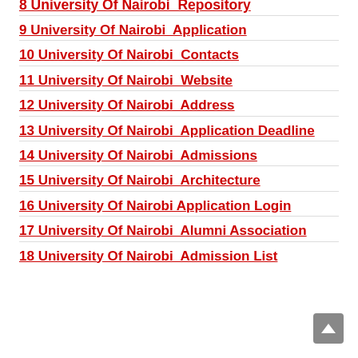8 University Of Nairobi  Repository
9 University Of Nairobi  Application
10 University Of Nairobi  Contacts
11 University Of Nairobi  Website
12 University Of Nairobi  Address
13 University Of Nairobi  Application Deadline
14 University Of Nairobi  Admissions
15 University Of Nairobi  Architecture
16 University Of Nairobi Application Login
17 University Of Nairobi  Alumni Association
18 University Of Nairobi  Admission List